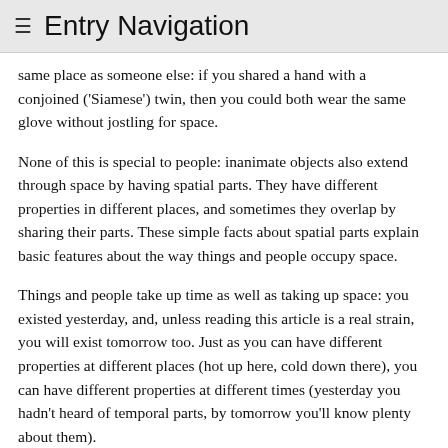≡ Entry Navigation
same place as someone else: if you shared a hand with a conjoined ('Siamese') twin, then you could both wear the same glove without jostling for space.
None of this is special to people: inanimate objects also extend through space by having spatial parts. They have different properties in different places, and sometimes they overlap by sharing their parts. These simple facts about spatial parts explain basic features about the way things and people occupy space.
Things and people take up time as well as taking up space: you existed yesterday, and, unless reading this article is a real strain, you will exist tomorrow too. Just as you can have different properties at different places (hot up here, cold down there), you can have different properties at different times (yesterday you hadn't heard of temporal parts, by tomorrow you'll know plenty about them).
Some philosophers believe that you take up time by having different temporal parts at different times. Your